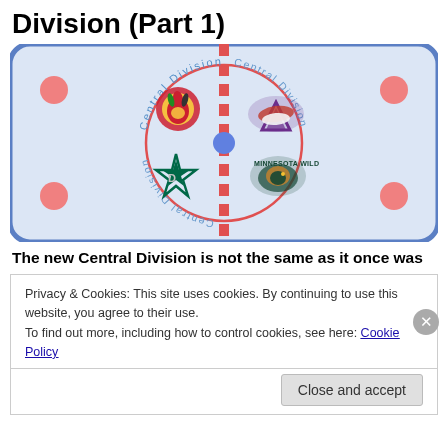Division (Part 1)
[Figure (illustration): Hockey rink diagram showing the Central Division with four NHL team logos (Chicago Blackhawks, Colorado Avalanche, Dallas Stars, Minnesota Wild) placed in each quadrant of the center ice circle. The rink has blue borders, a red center line, and 'Central Division' text curved around the circle on both sides.]
The new Central Division is not the same as it once was
Privacy & Cookies: This site uses cookies. By continuing to use this website, you agree to their use.
To find out more, including how to control cookies, see here: Cookie Policy
Close and accept